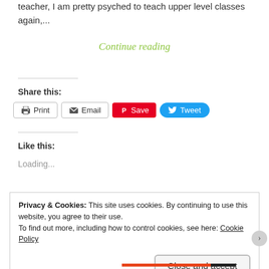teacher, I am pretty psyched to teach upper level classes again,...
Continue reading
Share this:
[Figure (screenshot): Social sharing buttons: Print, Email, Save (Pinterest), Tweet (Twitter)]
Like this:
Loading...
Privacy & Cookies: This site uses cookies. By continuing to use this website, you agree to their use. To find out more, including how to control cookies, see here: Cookie Policy
Close and accept